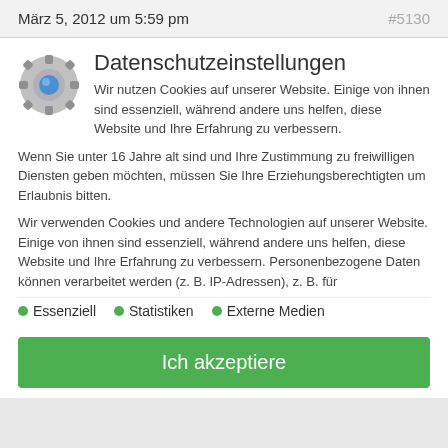März 5, 2012 um 5:59 pm   #5130
Datenschutzeinstellungen
Wir nutzen Cookies auf unserer Website. Einige von ihnen sind essenziell, während andere uns helfen, diese Website und Ihre Erfahrung zu verbessern.
Wenn Sie unter 16 Jahre alt sind und Ihre Zustimmung zu freiwilligen Diensten geben möchten, müssen Sie Ihre Erziehungsberechtigten um Erlaubnis bitten.
Wir verwenden Cookies und andere Technologien auf unserer Website. Einige von ihnen sind essenziell, während andere uns helfen, diese Website und Ihre Erfahrung zu verbessern. Personenbezogene Daten können verarbeitet werden (z. B. IP-Adressen), z. B. für
Essenziell
Statistiken
Externe Medien
Ich akzeptiere